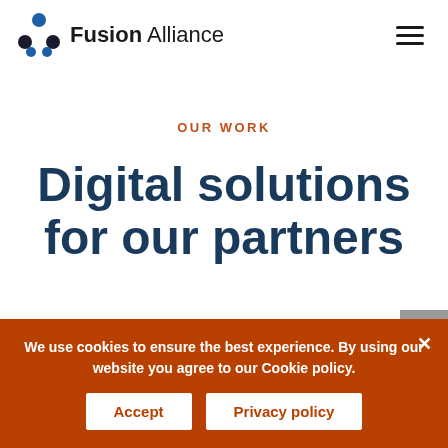Fusion Alliance
OUR WORK
Digital solutions for our partners
Dat
We use cookies to ensure the best experience. By using our website you agree to our Cookie policy.
Accept
Privacy policy